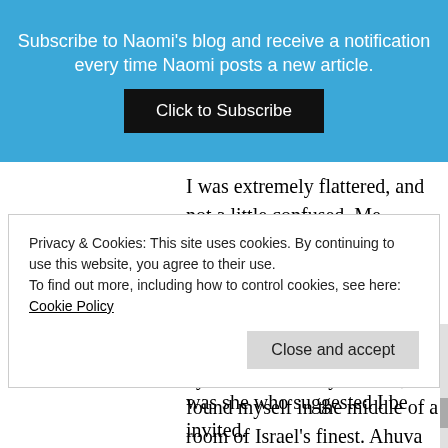Subscribe to Naomi's blog and receive a notification every time Naomi posts a new article.
Click to Subscribe
I was extremely flattered, and not a little confused. Me, lecture to Air Force pilots and officers? Of course, I told them. It would be a privilege.
And so, after being picked up by an official army vehicle, I found myself in the middle of a room of Israel's finest. Ahuva Eldar, wife of the base
Privacy & Cookies: This site uses cookies. By continuing to use this website, you agree to their use.
To find out more, including how to control cookies, see here: Cookie Policy
Close and accept
was she who suggested I be invited.